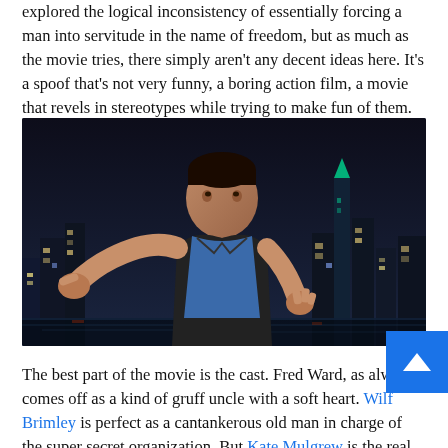explored the logical inconsistency of essentially forcing a man into servitude in the name of freedom, but as much as the movie tries, there simply aren't any decent ideas here. It's a spoof that's not very funny, a boring action film, a movie that revels in stereotypes while trying to make fun of them.
[Figure (photo): A man in a black jacket and blue shirt pointing aggressively toward the camera with city skyline at night in background.]
The best part of the movie is the cast. Fred Ward, as always, comes off as a kind of gruff uncle with a soft heart. Wilford Brimley is perfect as a cantankerous old man in charge of the super secret organization. But Kate Mulgrew is the real gem...